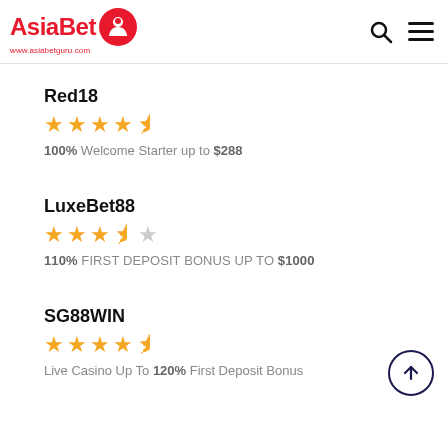AsiaBet www.asiabetguru.com
Red18 — ★★★★½ — 100% Welcome Starter up to $288
LuxeBet88 — ★★★½☆ — 110% FIRST DEPOSIT BONUS UP TO $1000
SG88WIN — ★★★★½ — Live Casino Up To 120% First Deposit Bonus